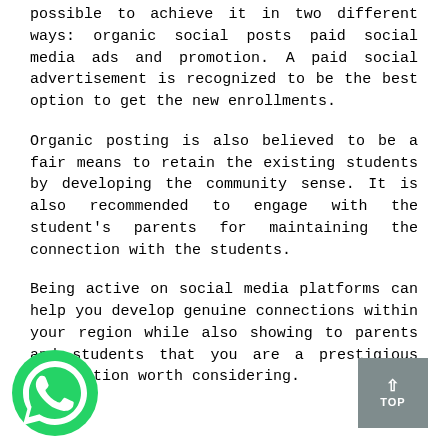possible to achieve it in two different ways: organic social posts paid social media ads and promotion. A paid social advertisement is recognized to be the best option to get the new enrollments.
Organic posting is also believed to be a fair means to retain the existing students by developing the community sense. It is also recommended to engage with the student's parents for maintaining the connection with the students.
Being active on social media platforms can help you develop genuine connections within your region while also showing to parents and students that you are a prestigious institution worth considering.
[Figure (logo): WhatsApp green phone icon logo]
[Figure (other): Grey 'TOP' button with upward arrow]